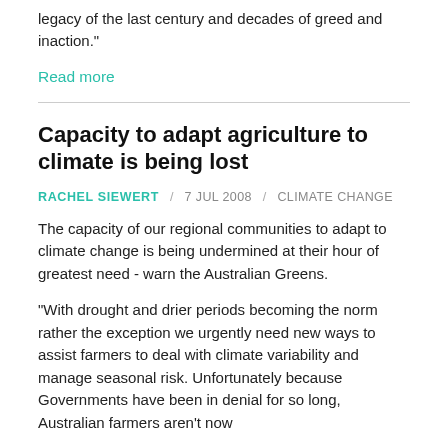legacy of the last century and decades of greed and inaction."
Read more
Capacity to adapt agriculture to climate is being lost
RACHEL SIEWERT / 7 JUL 2008 / CLIMATE CHANGE
The capacity of our regional communities to adapt to climate change is being undermined at their hour of greatest need - warn the Australian Greens.
"With drought and drier periods becoming the norm rather the exception we urgently need new ways to assist farmers to deal with climate variability and manage seasonal risk. Unfortunately because Governments have been in denial for so long, Australian farmers aren't now